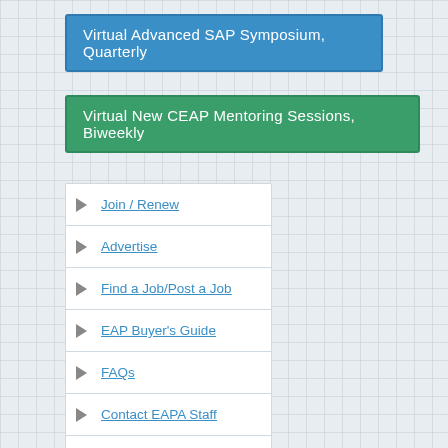Virtual Advanced SAP Symposium, Quarterly
Virtual New CEAP Mentoring Sessions, Biweekly
Join / Renew
Advertise
Find a Job/Post a Job
EAP Buyer's Guide
FAQs
Contact EAPA Staff
Contact EAPA Board
Contact EACC